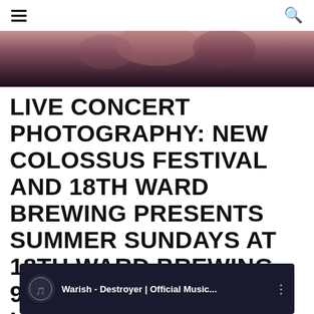≡ [hamburger menu] [search icon]
[Figure (photo): Partial concert photo strip at the top of the page, showing dark tones and partial figures]
LIVE CONCERT PHOTOGRAPHY: NEW COLOSSUS FESTIVAL AND 18TH WARD BREWING PRESENTS SUMMER SUNDAYS AT 18TH WARD BREWING 9/12/21 FEAT. WET LEATHER, TUNGSTEN BEACH, TICKER TAPE, AND THE ROYAL ARCTIC INSTITUTE
[Figure (screenshot): YouTube video thumbnail showing 'Warish - Destroyer | Official Music...' with a circular logo on dark blue background]